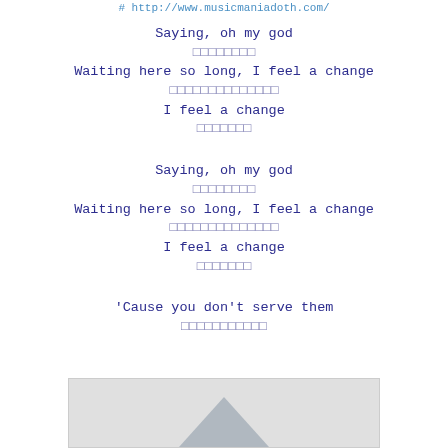# http://www.musicmaniadoth.com/
Saying, oh my god
░░░░░░░░
Waiting here so long, I feel a change
░░░░░░░░░░░░░░
I feel a change
░░░░░░░░
Saying, oh my god
░░░░░░░░
Waiting here so long, I feel a change
░░░░░░░░░░░░░░
I feel a change
░░░░░░░░
'Cause you don't serve them
░░░░░░░░░░░
[Figure (photo): Partial image visible at bottom of page showing a triangular/arrow shape in gray tones]